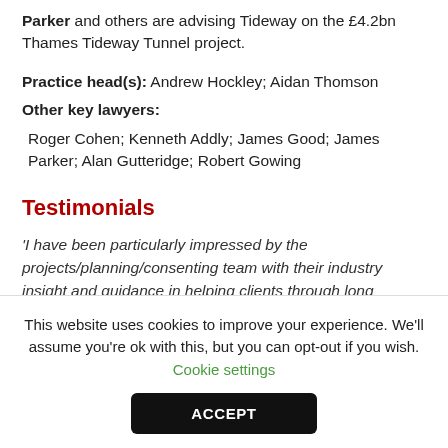Parker and others are advising Tideway on the £4.2bn Thames Tideway Tunnel project.
Practice head(s): Andrew Hockley; Aidan Thomson
Other key lawyers:
Roger Cohen; Kenneth Addly; James Good; James Parker; Alan Gutteridge; Robert Gowing
Testimonials
'I have been particularly impressed by the projects/planning/consenting team with their industry insight and guidance in helping clients through long
This website uses cookies to improve your experience. We'll assume you're ok with this, but you can opt-out if you wish. Cookie settings
ACCEPT